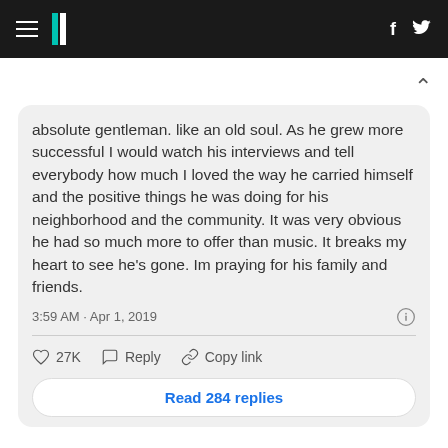HuffPost header navigation with logo, Facebook and Twitter icons
absolute gentleman. like an old soul. As he grew more successful I would watch his interviews and tell everybody how much I loved the way he carried himself and the positive things he was doing for his neighborhood and the community. It was very obvious he had so much more to offer than music. It breaks my heart to see he's gone. Im praying for his family and friends.
3:59 AM · Apr 1, 2019
27K  Reply  Copy link
Read 284 replies